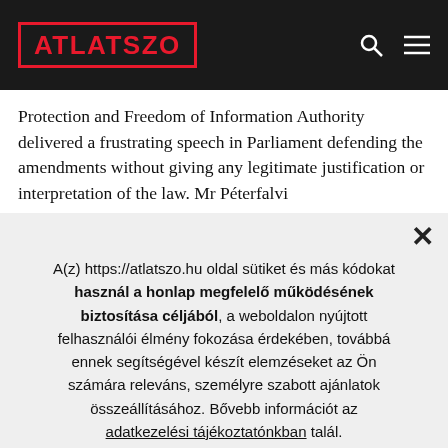ATLATSZO
Protection and Freedom of Information Authority delivered a frustrating speech in Parliament defending the amendments without giving any legitimate justification or interpretation of the law. Mr Péterfalvi
A(z) https://atlatszo.hu oldal sütiket és más kódokat használ a honlap megfelelő működésének biztosítása céljából, a weboldalon nyújtott felhasználói élmény fokozása érdekében, továbbá ennek segítségével készít elemzéseket az Ön számára releváns, személyre szabott ajánlatok összeállításához. Bővebb információt az adatkezelési tájékoztatónkban talál.
✓ Beleegyezem
✕ Elutasítom